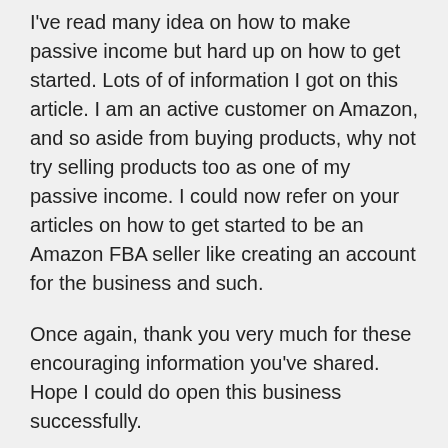I've read many idea on how to make passive income but hard up on how to get started. Lots of of information I got on this article. I am an active customer on Amazon, and so aside from buying products, why not try selling products too as one of my passive income. I could now refer on your articles on how to get started to be an Amazon FBA seller like creating an account for the business and such.
Once again, thank you very much for these encouraging information you've shared. Hope I could do open this business successfully.
Thumbs up to you, Rob 🙂